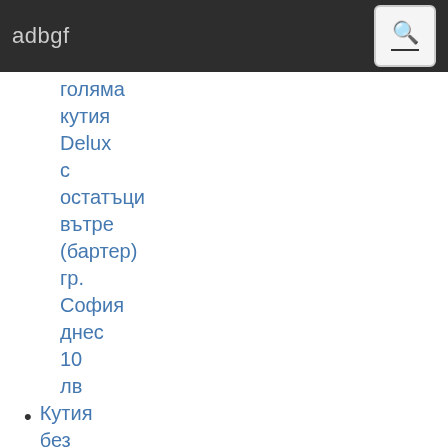adbgf
голяма кутия Delux с остатъци вътре (бартер) гр. София днес 10 лв
Кутия без капак, кутия комп и видеокарта
Оригинална батерия за